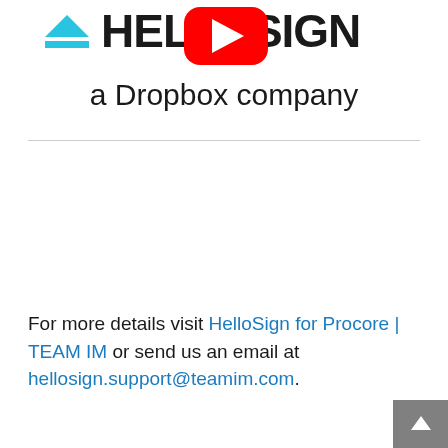[Figure (logo): HelloSign logo with YouTube play button overlay and text 'a Dropbox company']
For more details visit HelloSign for Procore | TEAM IM or send us an email at hellosign.support@teamim.com.